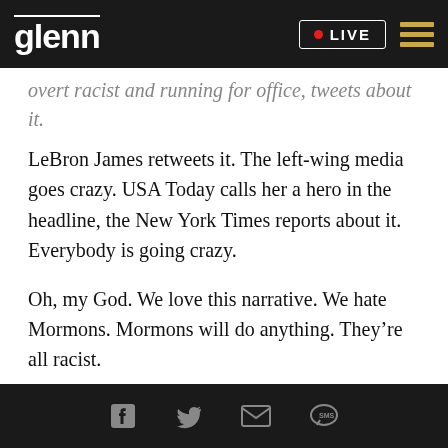glenn | LIVE
overt racist and running for office, tweets about it. LeBron James retweets it. The left-wing media goes crazy. USA Today calls her a hero in the headline, the New York Times reports about it. Everybody is going crazy.
Oh, my God. We love this narrative. We hate Mormons. Mormons will do anything. They’re all racist.
And, by that time -- by that time, she herself becomes invested in the story. Duke is not going to
Social share icons: Facebook, Twitter, Email, SMS